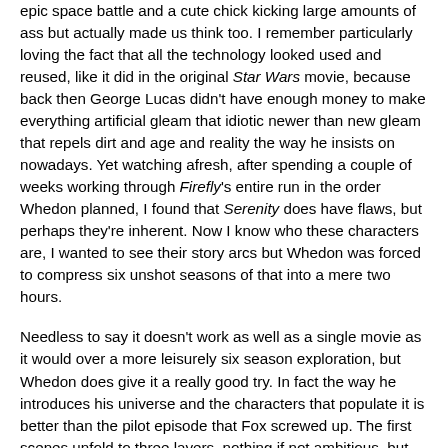epic space battle and a cute chick kicking large amounts of ass but actually made us think too. I remember particularly loving the fact that all the technology looked used and reused, like it did in the original Star Wars movie, because back then George Lucas didn't have enough money to make everything artificial gleam that idiotic newer than new gleam that repels dirt and age and reality the way he insists on nowadays. Yet watching afresh, after spending a couple of weeks working through Firefly's entire run in the order Whedon planned, I found that Serenity does have flaws, but perhaps they're inherent. Now I know who these characters are, I wanted to see their story arcs but Whedon was forced to compress six unshot seasons of that into a mere two hours.
Needless to say it doesn't work as well as a single movie as it would over a more leisurely six season exploration, but Whedon does give it a really good try. In fact the way he introduces his universe and the characters that populate it is better than the pilot episode that Fox screwed up. The first scenes unfold to three layers, nothing if not ambitious, but they cover so much. They define the real focus too: River